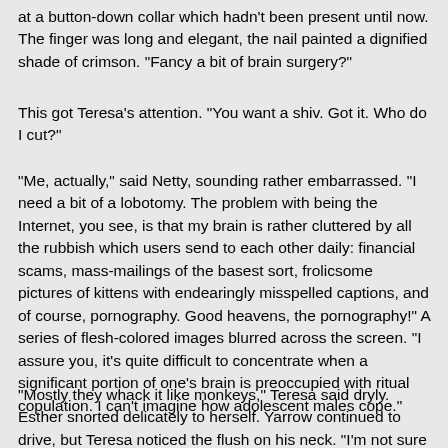at a button-down collar which hadn't been present until now. The finger was long and elegant, the nail painted a dignified shade of crimson. "Fancy a bit of brain surgery?"
This got Teresa's attention. "You want a shiv. Got it. Who do I cut?"
"Me, actually," said Netty, sounding rather embarrassed. "I need a bit of a lobotomy. The problem with being the Internet, you see, is that my brain is rather cluttered by all the rubbish which users send to each other daily: financial scams, mass-mailings of the basest sort, frolicsome pictures of kittens with endearingly misspelled captions, and of course, pornography. Good heavens, the pornography!" A series of flesh-colored images blurred across the screen. "I assure you, it's quite difficult to concentrate when a significant portion of one's brain is preoccupied with ritual copulation. I can't imagine how adolescent males cope."
"Mostly they whack it like monkeys," Teresa said dryly. Esther snorted delicately to herself. Yarrow continued to drive, but Teresa noticed the flush on his neck. "I'm not sure